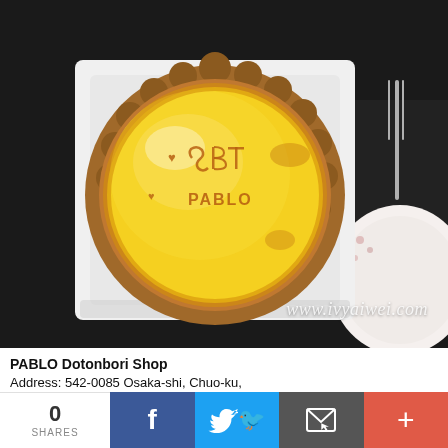[Figure (photo): Photo of a PABLO cheese tart in a white box, with golden-yellow custard top branded with PABLO logo and hearts, on a dark surface with a decorative plate visible on the right. Watermark reads www.ivyaiwei.com]
PABLO Dotonbori Shop
Address: 542-0085 Osaka-shi, Chuo-ku,
0
SHARES
[Figure (other): Social sharing bar with 0 SHARES, Facebook button (f), Twitter button (bird), Email/envelope button, and plus (+) button]